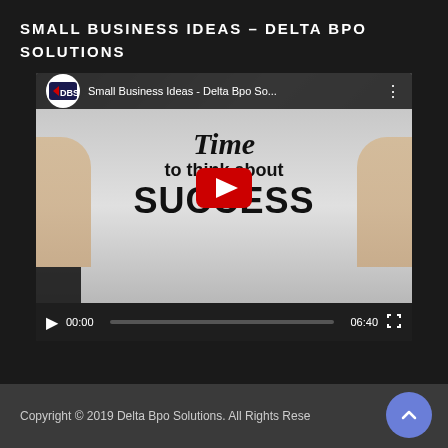SMALL BUSINESS IDEAS – DELTA BPO SOLUTIONS
[Figure (screenshot): YouTube video embed showing 'Small Business Ideas - Delta Bpo So...' with a thumbnail of someone holding a sign reading 'Time to Think about SUCCESS', a red YouTube play button in the center, video controls showing 00:00 / 06:40, and the DBS logo in the top left of the video.]
Copyright © 2019 Delta Bpo Solutions. All Rights Reserved.